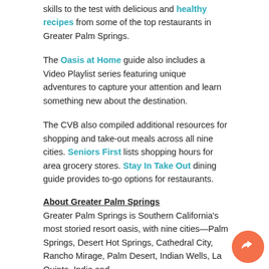skills to the test with delicious and healthy recipes from some of the top restaurants in Greater Palm Springs.
The Oasis at Home guide also includes a Video Playlist series featuring unique adventures to capture your attention and learn something new about the destination.
The CVB also compiled additional resources for shopping and take-out meals across all nine cities. Seniors First lists shopping hours for area grocery stores. Stay In Take Out dining guide provides to-go options for restaurants.
About Greater Palm Springs
Greater Palm Springs is Southern California's most storied resort oasis, with nine cities—Palm Springs, Desert Hot Springs, Cathedral City, Rancho Mirage, Palm Desert, Indian Wells, La Quinta, Indio and